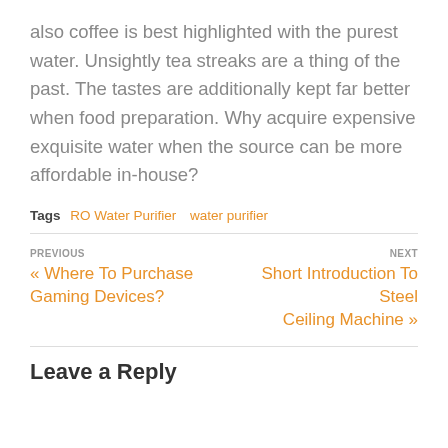also coffee is best highlighted with the purest water. Unsightly tea streaks are a thing of the past. The tastes are additionally kept far better when food preparation. Why acquire expensive exquisite water when the source can be more affordable in-house?
Tags  RO Water Purifier  water purifier
PREVIOUS  « Where To Purchase Gaming Devices?
NEXT  Short Introduction To Steel Ceiling Machine »
Leave a Reply